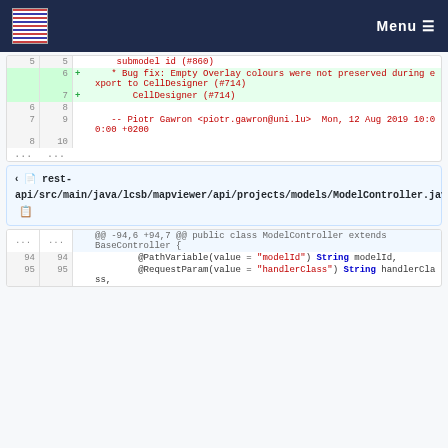Menu
[Figure (screenshot): Git diff view showing code changes. First diff block shows lines 5-10 with added lines 6-7 (green background) containing bug fix comments about Empty Overlay colours and CellDesigner export. Lines 6-8 show author attribution to Piotr Gawron.]
[Figure (screenshot): File header for rest-api/src/main/java/lcsb/mapviewer/api/projects/models/ModelController.java with diff showing lines 94-95 containing @PathVariable and @RequestParam annotations.]